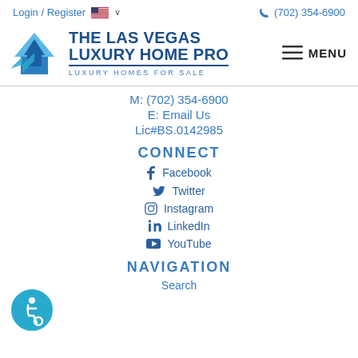Login / Register  🇺🇸 ∨   📞 (702) 354-6900
[Figure (logo): The Las Vegas Luxury Home Pro logo with blue house icon and text 'THE LAS VEGAS LUXURY HOME PRO – LUXURY HOMES FOR SALE', plus MENU hamburger button on right]
M: (702) 354-6900
E: Email Us
Lic#BS.0142985
CONNECT
Facebook
Twitter
Instagram
LinkedIn
YouTube
NAVIGATION
Search